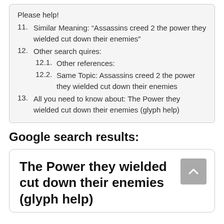Please help!
11. Similar Meaning: “Assassins creed 2 the power they wielded cut down their enemies”
12. Other search quires:
12.1. Other references:
12.2. Same Topic: Assassins creed 2 the power they wielded cut down their enemies
13. All you need to know about: The Power they wielded cut down their enemies (glyph help)
Google search results:
The Power they wielded cut down their enemies (glyph help)